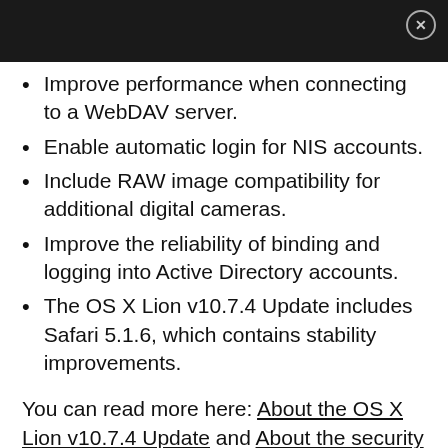Improve performance when connecting to a WebDAV server.
Enable automatic login for NIS accounts.
Include RAW image compatibility for additional digital cameras.
Improve the reliability of binding and logging into Active Directory accounts.
The OS X Lion v10.7.4 Update includes Safari 5.1.6, which contains stability improvements.
You can read more here: About the OS X Lion v10.7.4 Update and About the security content of OS X Lion 10.7.4 and Security Update 2012-002